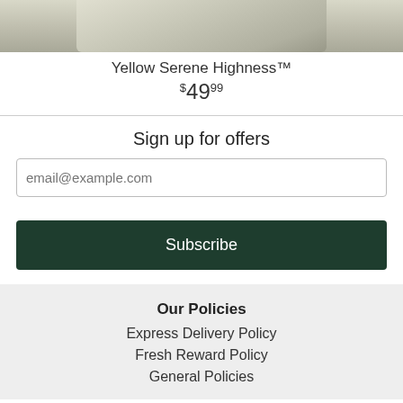[Figure (photo): Partial product photo showing bottom portion of Yellow Serene Highness product on a neutral background]
Yellow Serene Highness™
$4999
Sign up for offers
email@example.com
Subscribe
Our Policies
Express Delivery Policy
Fresh Reward Policy
General Policies